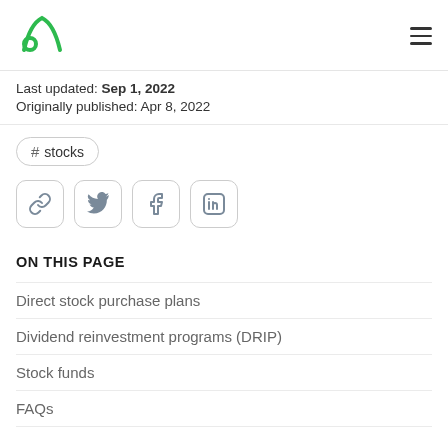Logo and navigation header
Last updated: Sep 1, 2022
Originally published: Apr 8, 2022
# stocks
[Figure (other): Social share buttons: link, Twitter, Facebook, LinkedIn]
ON THIS PAGE
Direct stock purchase plans
Dividend reinvestment programs (DRIP)
Stock funds
FAQs